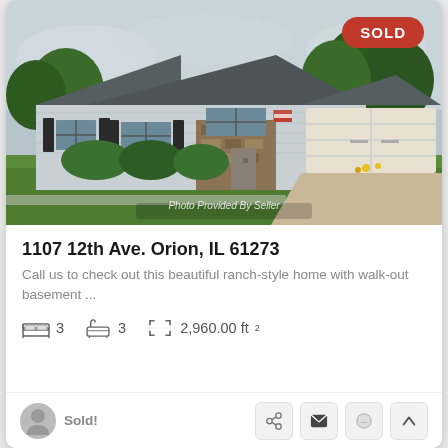[Figure (photo): Front exterior of a single-story ranch-style home with attached two-car garage, light blue/gray siding, dark shutters, green lawn, and trees. Overcast sky. A SOLD badge is in the top right. Photo credit: 'Photo Provided By Seller' at bottom center.]
1107 12th Ave. Orion, IL 61273
Call us to check out this beautiful ranch-style home with walk-out basement ...
3 bedrooms  3 bathrooms  2,960.00 ft²
Sold!